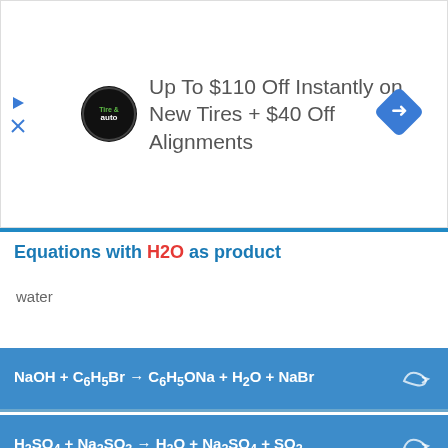[Figure (other): Advertisement banner: Up To $110 Off Instantly on New Tires + $40 Off Alignments with Tire & Auto logo and navigation arrow icon]
Equations with H2O as product
water
View all equation with H2O as product